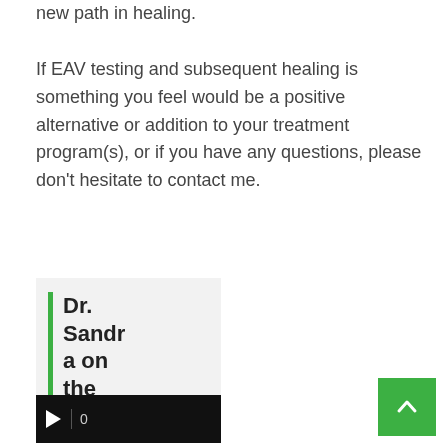new path in healing.

If EAV testing and subsequent healing is something you feel would be a positive alternative or addition to your treatment program(s), or if you have any questions, please don't hesitate to contact me.
Dr. Sandra on the Radio!
[Figure (other): Audio player widget with play button and counter showing 0]
[Figure (other): Green scroll-to-top button with upward chevron arrow]